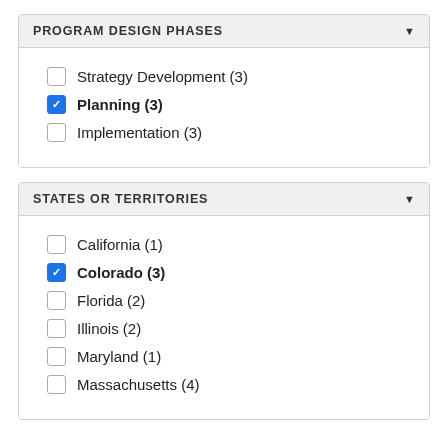PROGRAM DESIGN PHASES
Strategy Development (3)
Planning (3)
Implementation (3)
STATES OR TERRITORIES
California (1)
Colorado (3)
Florida (2)
Illinois (2)
Maryland (1)
Massachusetts (4)